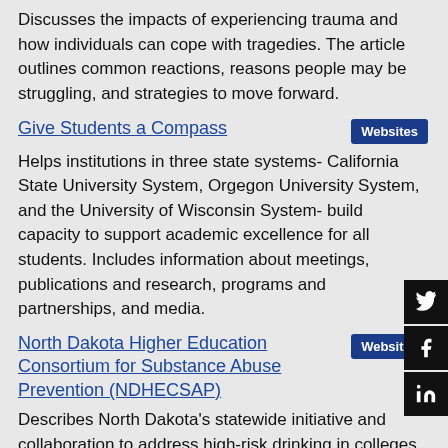Discusses the impacts of experiencing trauma and how individuals can cope with tragedies. The article outlines common reactions, reasons people may be struggling, and strategies to move forward.
Give Students a Compass
Helps institutions in three state systems- California State University System, Orgegon University System, and the University of Wisconsin System- build capacity to support academic excellence for all students. Includes information about meetings, publications and research, programs and partnerships, and media.
North Dakota Higher Education Consortium for Substance Abuse Prevention (NDHECSAP)
Describes North Dakota's statewide initiative and collaboration to address high-risk drinking in colleges and universities.